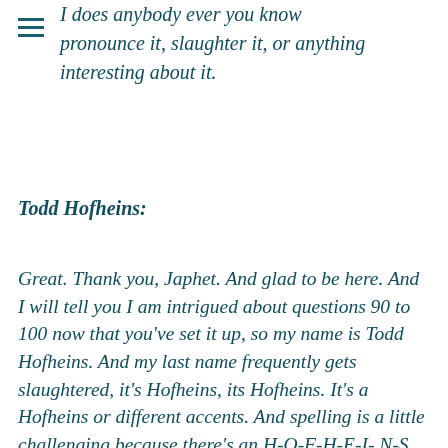I does anybody ever you know pronounce it, slaughter it, or anything interesting about it.
Todd Hofheins:
Great. Thank you, Japhet. And glad to be here. And I will tell you I am intrigued about questions 90 to 100 now that you've set it up, so my name is Todd Hofheins. And my last name frequently gets slaughtered, it's Hofheins, its Hofheins. It's a Hofheins or different accents. And spelling is a little challenging because there's an H-O-F-H-E-I-N-S. and usually it is spelled H-O-F-F. So it's a